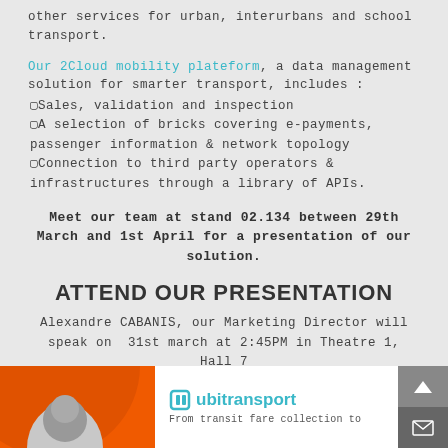other services for urban, interurbans and school transport.
Our 2Cloud mobility plateform, a data management solution for smarter transport, includes :
Sales, validation and inspection
A selection of bricks covering e-payments, passenger information & network topology
Connection to third party operators & infrastructures through a library of APIs.
Meet our team at stand 02.134 between 29th March and 1st April for a presentation of our solution.
ATTEND OUR PRESENTATION
Alexandre CABANIS, our Marketing Director will speak on 31st march at 2:45PM in Theatre 1, Hall 7
[Figure (logo): Ubitransport company banner with orange graphic, person photo, ubitransport logo, and tagline 'From transit fare collection to']